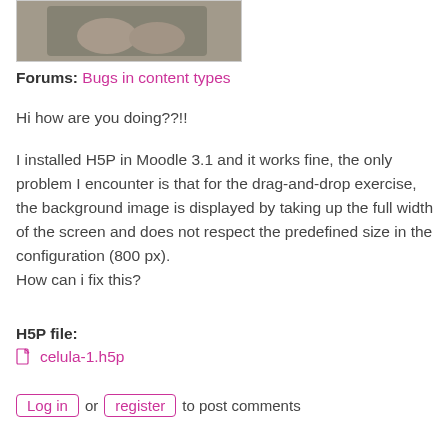[Figure (photo): Partial photo showing a person's hands folded, wearing a grey sweater, cropped at top.]
Forums: Bugs in content types
Hi how are you doing??!!
I installed H5P in Moodle 3.1 and it works fine, the only problem I encounter is that for the drag-and-drop exercise, the background image is displayed by taking up the full width of the screen and does not respect the predefined size in the configuration (800 px).
How can i fix this?
H5P file:
celula-1.h5p
Log in or register to post comments